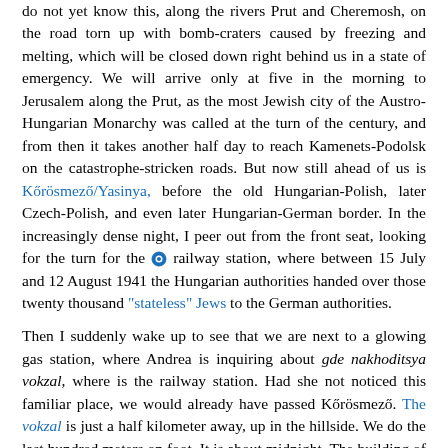do not yet know this, along the rivers Prut and Cheremosh, on the road torn up with bomb-craters caused by freezing and melting, which will be closed down right behind us in a state of emergency. We will arrive only at five in the morning to Jerusalem along the Prut, as the most Jewish city of the Austro-Hungarian Monarchy was called at the turn of the century, and from then it takes another half day to reach Kamenets-Podolsk on the catastrophe-stricken roads. But now still ahead of us is Kőrösmező/Yasinya, before the old Hungarian-Polish, later Czech-Polish, and even later Hungarian-German border. In the increasingly dense night, I peer out from the front seat, looking for the turn for the [icon] railway station, where between 15 July and 12 August 1941 the Hungarian authorities handed over those twenty thousand "stateless" Jews to the German authorities.
Then I suddenly wake up to see that we are next to a glowing gas station, where Andrea is inquiring about gde nakhoditsya vokzal, where is the railway station. Had she not noticed this familiar place, we would already have passed Kőrösmező. The vokzal is just a half kilometer away, up in the hillside. We do the last hundred meters on foot. It is about midnight. The building of the railway station is dark...